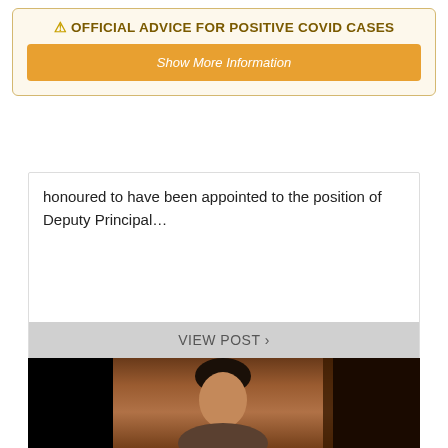⚠ OFFICIAL ADVICE FOR POSITIVE COVID CASES
Show More Information
honoured to have been appointed to the position of Deputy Principal…
VIEW POST ›
[Figure (photo): Portrait photo of a person with short dark hair, shown from shoulders up, against a wooden door background with black areas on sides]